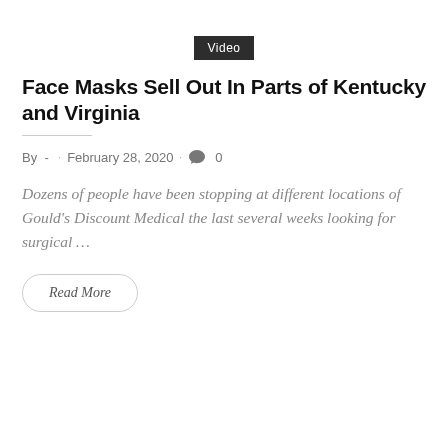Video
Face Masks Sell Out In Parts of Kentucky and Virginia
By -  .  February 28, 2020  .  0
Dozens of people have been stopping at different locations of Gould's Discount Medical the last several weeks looking for surgical …
Read More